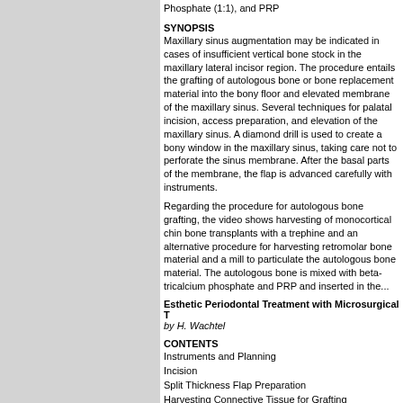Phosphate (1:1), and PRP
SYNOPSIS
Maxillary sinus augmentation may be indicated in cases of insufficient vertical bone stock in the maxillary lateral incisor region. The procedure entails the grafting of autologous bone or bone replacement material into the bony floor and elevated membrane of the maxillary sinus. Several techniques for palatal incision, access preparation, and elevation of the maxillary sinus. A diamond drill is used to create a bony window in the maxillary sinus, taking care not to perforate the sinus membrane. After the basal parts of the membrane, the flap is advanced carefully with instruments.
Regarding the procedure for autologous bone grafting, the video shows harvesting of monocortical chin bone transplants with a trephine and an alternative procedure for harvesting retromolar bone material and a mill to particulate the autologous bone material. The autologous bone is mixed with beta-tricalcium phosphate and PRP and inserted in the...
Esthetic Periodontal Treatment with Microsurgical T
by H. Wachtel
CONTENTS
Instruments and Planning
Incision
Split Thickness Flap Preparation
Harvesting Connective Tissue for Grafting
Palatal Sutures
Transplant Insertion and Suture
Microsurgical Suture
SYNOPSIS
Microsurgical operation to repair two adjacent, exposed roots shows the step-by-step preparation of coronally advanced split flaps with connective tissue. To remove connective tissue from the palate, a trap door is required. Ultra-precise microsurgical suturing is the key to achieving optimal results.
Single-issue price: US $128